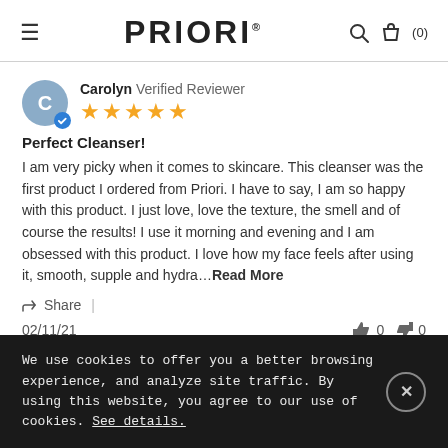PRIORI
Carolyn Verified Reviewer
★★★★★
Perfect Cleanser!
I am very picky when it comes to skincare. This cleanser was the first product I ordered from Priori. I have to say, I am so happy with this product. I just love, love the texture, the smell and of course the results! I use it morning and evening and I am obsessed with this product. I love how my face feels after using it, smooth, supple and hydra…Read More
Share |
02/11/21
0  0
We use cookies to offer you a better browsing experience, and analyze site traffic. By using this website, you agree to our use of cookies. See details.